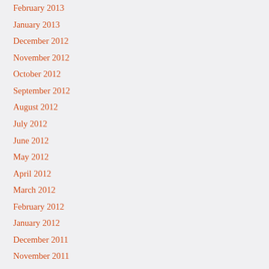February 2013
January 2013
December 2012
November 2012
October 2012
September 2012
August 2012
July 2012
June 2012
May 2012
April 2012
March 2012
February 2012
January 2012
December 2011
November 2011
March 2011